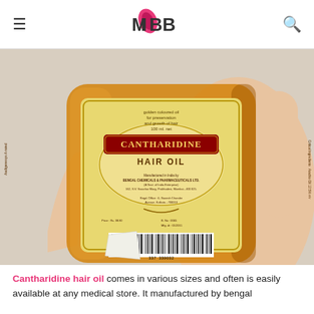IMBB
[Figure (photo): A hand holding a bottle of Cantharidine Hair Oil with a golden label, manufactured by Bengal Chemicals & Pharmaceuticals Ltd. The bottle contains amber/orange colored oil.]
Cantharidine hair oil comes in various sizes and often is easily available at any medical store. It manufactured by bengal